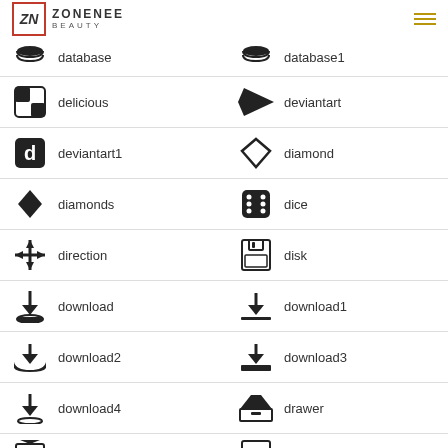ZONENEE BEAUTY — navigation header with logo and menu icon
database (icon, left)
database1 (icon, right)
delicious (icon, left)
deviantart (icon, right)
deviantart1 (icon, left)
diamond (icon, right)
diamonds (icon, left)
dice (icon, right)
direction (icon, left)
disk (icon, right)
download (icon, left)
download1 (icon, right)
download2 (icon, left)
download3 (icon, right)
download4 (icon, left)
drawer (icon, right)